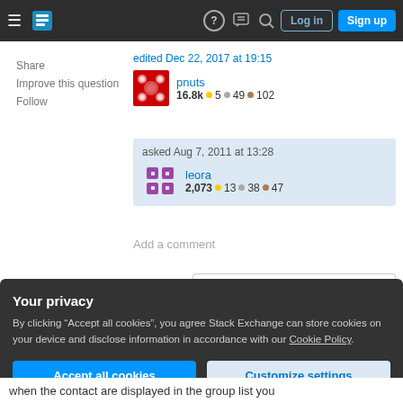Stack Exchange navigation bar with hamburger menu, logo, help, chat, search icons, Log in and Sign up buttons
Share
Improve this question
Follow
edited Dec 22, 2017 at 19:15
pnuts
16.8k ● 5 ● 49 ● 102
asked Aug 7, 2011 at 13:28
leora
2,073 ● 13 ● 38 ● 47
Add a comment
Sorted by:
1 Answer
Your privacy
By clicking "Accept all cookies", you agree Stack Exchange can store cookies on your device and disclose information in accordance with our Cookie Policy.
Accept all cookies
Customize settings
when the contact are displayed in the group list you